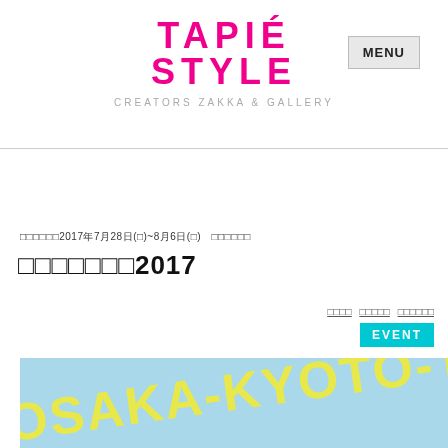TAPIÉ STYLE — CREATORS ZAKKA & GALLERY
MENU
□□□□□□2017年7月28日(□)~8月6日(□)　□□□□□□
□□□□□□□2017
□□□□　□□□□□　□□□□□□
EVENT
[Figure (illustration): Light blue banner image with text OSAKA-KYOTO-TOKYO in large yellow rotated letters]